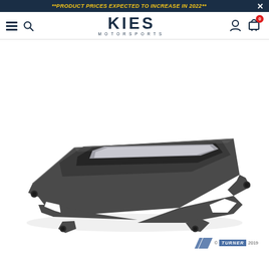**PRODUCT PRICES EXPECTED TO INCREASE IN 2022**
[Figure (logo): KIES MOTORSPORTS logo with hamburger menu, search icon, user icon, and cart icon with badge '0']
[Figure (photo): Automotive engine/intercooler bracket or skid plate component, dark grey/black metal, photographed on white background. Turner Motorsport copyright watermark 2019 in bottom right.]